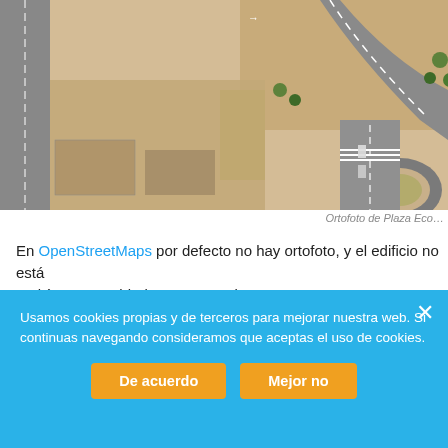[Figure (photo): Aerial orthophoto of Plaza Eco area showing roads, a roundabout, buildings under construction, and sandy terrain]
Ortofoto de Plaza Eco…
En OpenStreetMaps por defecto no hay ortofoto, y el edificio no está podríamos cambiarlo nosotros mismos.
Usamos cookies propias y de terceros para mejorar nuestra web. Si continuas navegando consideramos que aceptas el uso de cookies.